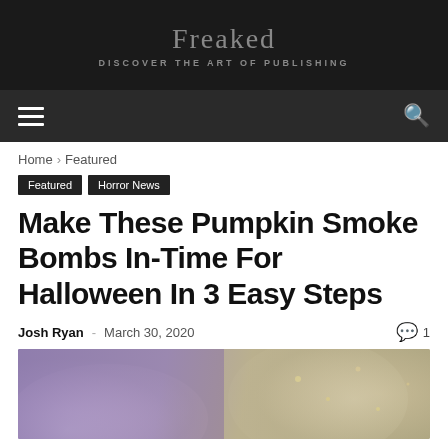Freaked
DISCOVER THE ART OF PUBLISHING
Home › Featured
Featured
Horror News
Make These Pumpkin Smoke Bombs In-Time For Halloween In 3 Easy Steps
Josh Ryan - March 30, 2020  💬 1
[Figure (photo): Pumpkin smoke bomb Halloween photo with purple smoke and bokeh lights]